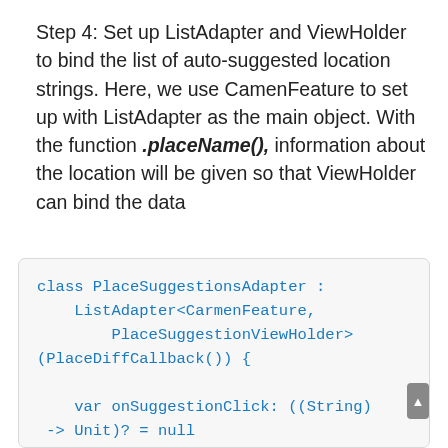Step 4: Set up ListAdapter and ViewHolder to bind the list of auto-suggested location strings. Here, we use CamenFeature to set up with ListAdapter as the main object. With the function .placeName(), information about the location will be given so that ViewHolder can bind the data
class PlaceSuggestionsAdapter :
    ListAdapter<CarmenFeature,
        PlaceSuggestionViewHolder>
(PlaceDiffCallback()) {

    var onSuggestionClick: ((String)
 -> Unit)? = null